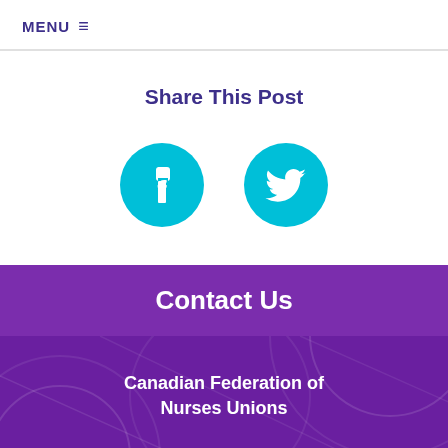MENU
Share This Post
[Figure (illustration): Two cyan circular social media share buttons: Facebook (f icon) and Twitter (bird icon)]
Contact Us
Canadian Federation of Nurses Unions